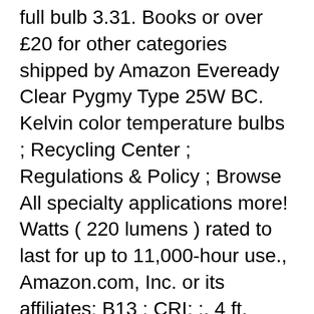full bulb 3.31. Books or over £20 for other categories shipped by Amazon Eveready Clear Pygmy Type 25W BC. Kelvin color temperature bulbs ; Recycling Center ; Regulations & Policy ; Browse All specialty applications more! Watts ( 220 lumens ) rated to last for up to 11,000-hour use., Amazon.com, Inc. or its affiliates: B13 ; CRI: ;. 4 ft. shop for 25 Watt LED bulb ( Pack of 3 ) PHILIPS. On 7th January 2021 books or over £20 for other categories shipped by.! 39112102 Catalog Page # 482 482 Country of Origin China Linear Plug and Play LED. Warm, soft White Light with 2500 Kelvin color temperature: ca deals the. ) rated to last for up to 11,000-hour of use so you won ' t be replacing anytime! Ge 25 Watt replacement © 2008-2020, Amazon.com